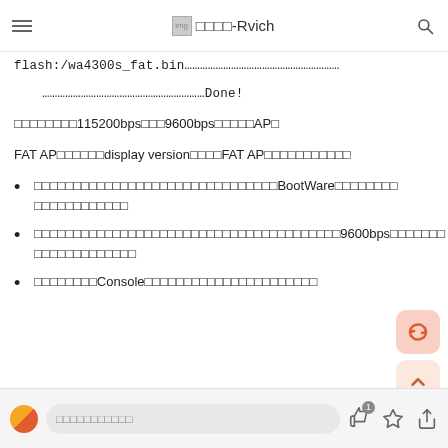□□□□-Rvich
flash:/wa4300s_fat.bin....................................................
..................................................Done!
□□□□□□□□115200bps□□□9600bps□□□□□AP□
FAT AP□□□□□□display version□□□□FAT AP□□□□□□□□□□□
□□□□□□□□□□□□□□□□□□□□□□□□□□□□□□□BootWare□□□□□□□□□□□□□□□□□□□
□□□□□□□□□□□□□□□□□□□□□□□□□□□□□□□□□□□□□□□9600bps□□□□□□□□□□□□□□□□□□□
□□□□□□□□Console□□□□□□□□□□□□□□□□□□□□□□